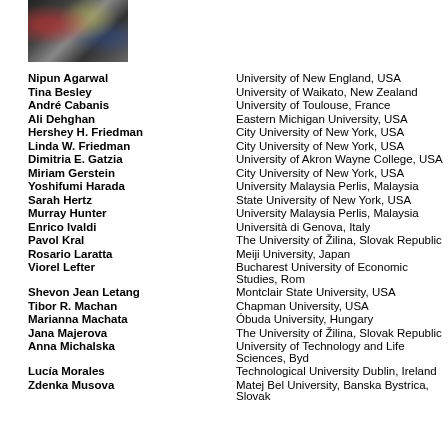[Figure (photo): Photo of a crowded event or street scene]
Nipun Agarwal — University of New England, USA
Tina Besley — University of Waikato, New Zealand
André Cabanis — University of Toulouse, France
Ali Dehghan — Eastern Michigan University, USA
Hershey H. Friedman — City University of New York, USA
Linda W. Friedman — City University of New York, USA
Dimitria E. Gatzia — University of Akron Wayne College, USA
Miriam Gerstein — City University of New York, USA
Yoshifumi Harada — University Malaysia Perlis, Malaysia
Sarah Hertz — State University of New York, USA
Murray Hunter — University Malaysia Perlis, Malaysia
Enrico Ivaldi — Università di Genova, Italy
Pavol Kral — The University of Žilina, Slovak Republic
Rosario Laratta — Meiji University, Japan
Viorel Lefter — Bucharest University of Economic Studies, Rom
Shevon Jean Letang — Montclair State University, USA
Tibor R. Machan — Chapman University, USA
Marianna Machata — Óbuda University, Hungary
Jana Majerova — The University of Žilina, Slovak Republic
Anna Michalska — University of Technology and Life Sciences, Byd
Lucía Morales — Technological University Dublin, Ireland
Zdenka Musova — Matej Bel University, Banska Bystrica, Slovak